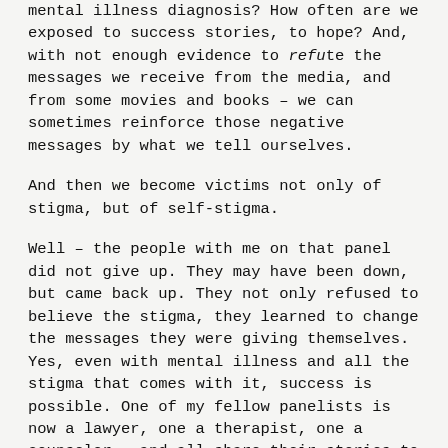mental illness diagnosis? How often are we exposed to success stories, to hope? And, with not enough evidence to refute the messages we receive from the media, and from some movies and books – we can sometimes reinforce those negative messages by what we tell ourselves.
And then we become victims not only of stigma, but of self-stigma.
Well – the people with me on that panel did not give up. They may have been down, but came back up. They not only refused to believe the stigma, they learned to change the messages they were giving themselves. Yes, even with mental illness and all the stigma that comes with it, success is possible. One of my fellow panelists is now a lawyer, one a therapist, one a counselor – and all share their stories to help others living with mental illness, and their families.